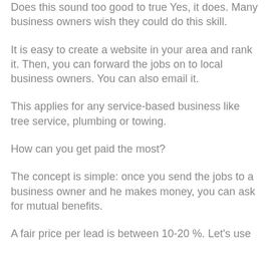Does this sound too good to true Yes, it does. Many business owners wish they could do this skill.
It is easy to create a website in your area and rank it. Then, you can forward the jobs on to local business owners. You can also email it.
This applies for any service-based business like tree service, plumbing or towing.
How can you get paid the most?
The concept is simple: once you send the jobs to a business owner and he makes money, you can ask for mutual benefits.
A fair price per lead is between 10-20 %. Let's use